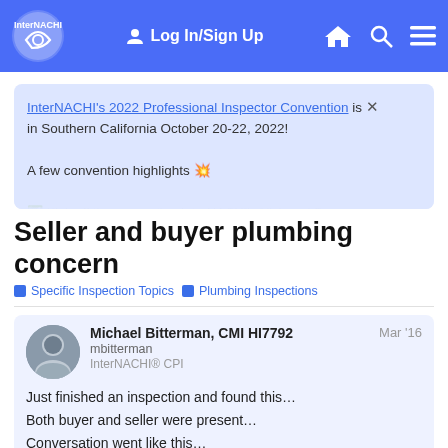Log In/Sign Up  [home] [search] [menu]
InterNACHI's 2022 Professional Inspector Convention is in Southern California October 20-22, 2022!

A few convention highlights 💥

✅ Kick off the convention InterNACHI's Nick and Ben
Seller and buyer plumbing concern
Specific Inspection Topics   Plumbing Inspections
Michael Bitterman, CMI HI7792
mbitterman
InterNACHI® CPI
Mar '16
Just finished an inspection and found this…
Both buyer and seller were present…
Conversation went like this…
Inspector: I see you have a small problem
Buyer: Oh my! What should we do?
1 / 13